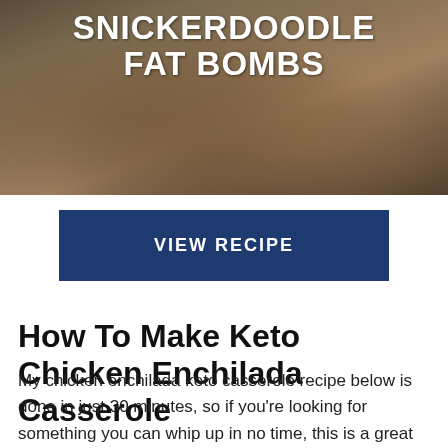[Figure (photo): Photo of snickerdoodle fat bombs in a bowl with text overlay reading SNICKERDOODLE FAT BOMBS]
VIEW RECIPE
How To Make Keto Chicken Enchilada Casserole
My chicken enchilada keto casserole recipe below is done in just 30 minutes, so if you're looking for something you can whip up in no time, this is a great recipe!